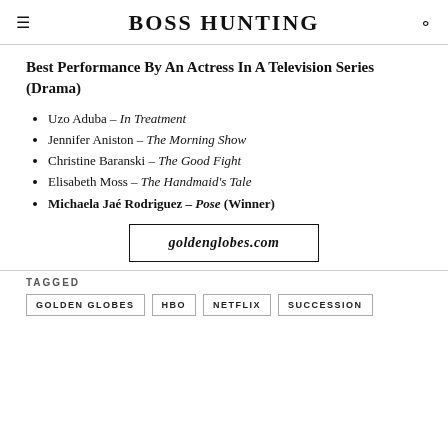BOSS HUNTING
Best Performance By An Actress In A Television Series (Drama)
Uzo Aduba – In Treatment
Jennifer Aniston – The Morning Show
Christine Baranski – The Good Fight
Elisabeth Moss – The Handmaid's Tale
Michaela Jaé Rodriguez – Pose (Winner)
[Figure (screenshot): Box with text goldenglobes.com (bold italic), bordered rectangle, acts as a link button]
TAGGED
GOLDEN GLOBES | HBO | NETFLIX | SUCCESSION